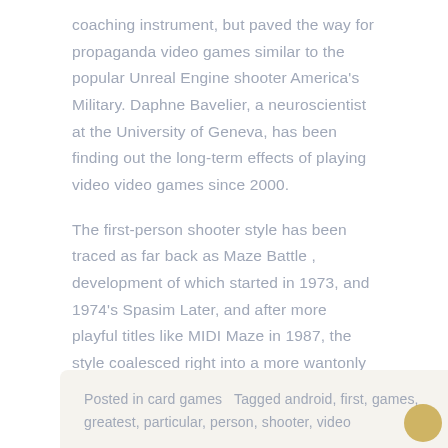coaching instrument, but paved the way for propaganda video games similar to the popular Unreal Engine shooter America's Military. Daphne Bavelier, a neuroscientist at the University of Geneva, has been finding out the long-term effects of playing video video games since 2000.
The first-person shooter style has been traced as far back as Maze Battle , development of which started in 1973, and 1974's Spasim Later, and after more playful titles like MIDI Maze in 1987, the style coalesced right into a more wantonly violent type with 1992's Wolfenstein 3D , which has been credited with creating the style's basic archetype, that subsequent titles have been based mostly upon.
Posted in card games   Tagged android, first, games, greatest, particular, person, shooter, video